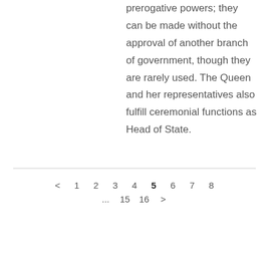prerogative powers; they can be made without the approval of another branch of government, though they are rarely used. The Queen and her representatives also fulfill ceremonial functions as Head of State.
< 1 2 3 4 5 6 7 8 ... 15 16 >